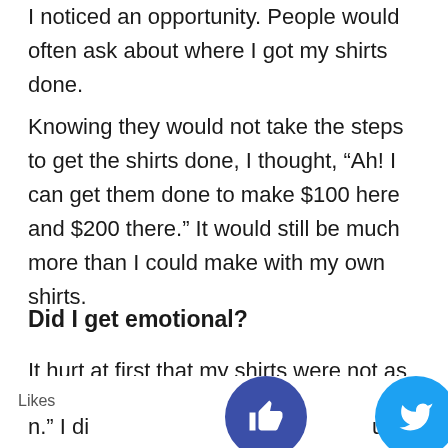I noticed an opportunity. People would often ask about where I got my shirts done.
Knowing they would not take the steps to get the shirts done, I thought, “Ah! I can get them done to make $100 here and $200 there.” It would still be much more than I could make with my own shirts.
Did I get emotional?
It hurt at first that my shirts were not as big as a hit as I dreamt, but I knew enough from studying business that I shouldn’t get too attached to “my n.” I di ant to ut on a
Likes